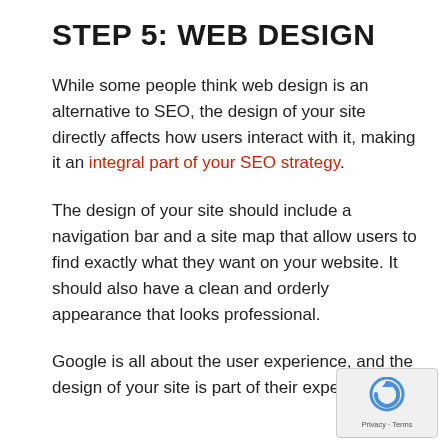STEP 5: WEB DESIGN
While some people think web design is an alternative to SEO, the design of your site directly affects how users interact with it, making it an integral part of your SEO strategy.
The design of your site should include a navigation bar and a site map that allow users to find exactly what they want on your website. It should also have a clean and orderly appearance that looks professional.
Google is all about the user experience, and the design of your site is part of their experience!
[Figure (logo): reCAPTCHA badge with Privacy and Terms links]